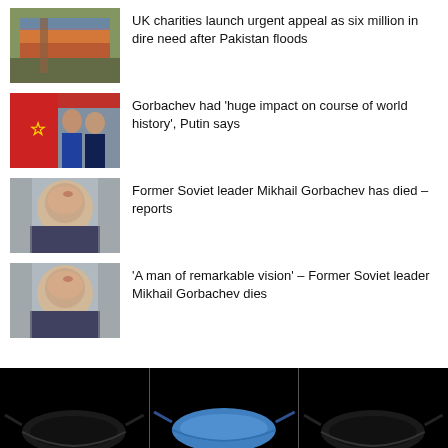UK charities launch urgent appeal as six million in dire need after Pakistan floods
Gorbachev had ‘huge impact on course of world history’, Putin says
Former Soviet leader Mikhail Gorbachev has died – reports
‘A man of remarkable vision’ – Former Soviet leader Mikhail Gorbachev dies
[Figure (photo): Three face masks displayed in separate panels on black background at bottom of page]